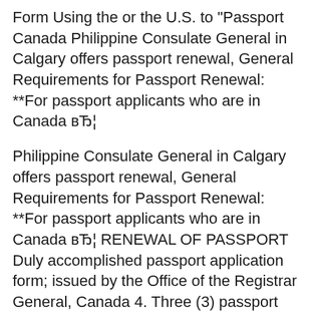Form Using the or the U.S. to "Passport Canada Philippine Consulate General in Calgary offers passport renewal, General Requirements for Passport Renewal: **For passport applicants who are in Canada вЂ¦
Philippine Consulate General in Calgary offers passport renewal, General Requirements for Passport Renewal: **For passport applicants who are in Canada вЂ¦ RENEWAL OF PASSPORT Duly accomplished passport application form; issued by the Office of the Registrar General, Canada 4. Three (3) passport вЂ¦
FOR RENEWAL APPLICATION OF ADULT